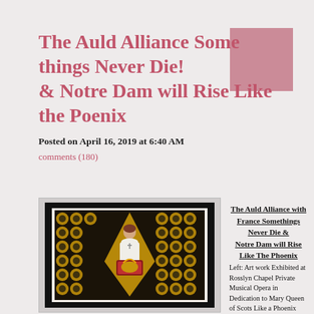The Auld Alliance Some things Never Die! & Notre Dam will Rise Like the Poenix
Posted on April 16, 2019 at 6:40 AM
comments (180)
[Figure (illustration): Artwork exhibited at Rosslyn Chapel showing Mary Queen of Scots as a phoenix figure, painted on dark background with golden and black floral/heraldic pattern]
The Auld Alliance with France Somethings Never Die & Notre Dam will Rise Like The Phoenix
Left: Art work Exhibited at Rosslyn Chapel Private Musical Opera in Dedication to Mary Queen of Scots Like a Phoenix
In Honor of the Auld Alliance with France and the tragic  Fire that made news today April 16th 2019